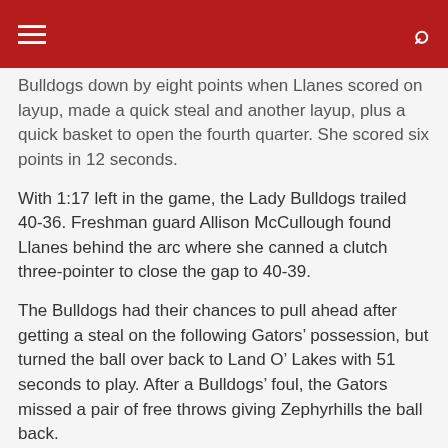≡  🔍
Bulldogs down by eight points when Llanes scored on layup, made a quick steal and another layup, plus a quick basket to open the fourth quarter. She scored six points in 12 seconds.
With 1:17 left in the game, the Lady Bulldogs trailed 40-36. Freshman guard Allison McCullough found Llanes behind the arc where she canned a clutch three-pointer to close the gap to 40-39.
The Bulldogs had their chances to pull ahead after getting a steal on the following Gators' possession, but turned the ball over back to Land O' Lakes with 51 seconds to play. After a Bulldogs' foul, the Gators missed a pair of free throws giving Zephyrhills the ball back.
With 36.6 seconds left, ZHS coach Chris Smith called a time out to set up a play, but a miss from under the basket gave the Gators the ball with 16 seconds left. After a Land O' Lakes' timeout, the Bulldogs couldn't get a steal and failed to foul in enough time to get them enough time